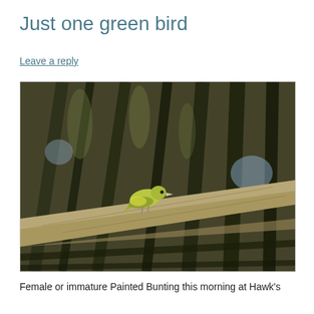Just one green bird
Leave a reply
[Figure (photo): A female or immature Painted Bunting perched on a palm frond or wooden branch, surrounded by palm leaves in the background. The bird is yellow-green in color.]
Female or immature Painted Bunting this morning at Hawk's